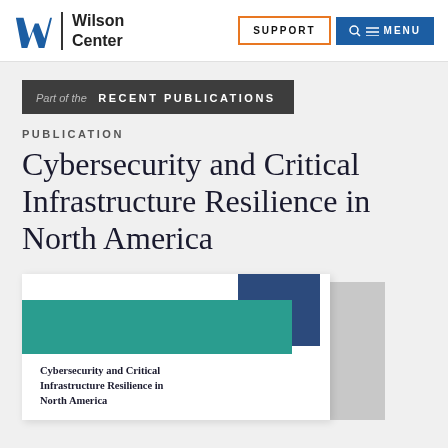Wilson Center | SUPPORT | MENU
Part of the RECENT PUBLICATIONS
PUBLICATION
Cybersecurity and Critical Infrastructure Resilience in North America
[Figure (illustration): Book cover preview showing teal and dark blue geometric shapes with title text 'CYBERSECURITY AND CRITICAL INFRASTRUCTURE RESILIENCE IN NORTH AMERICA']